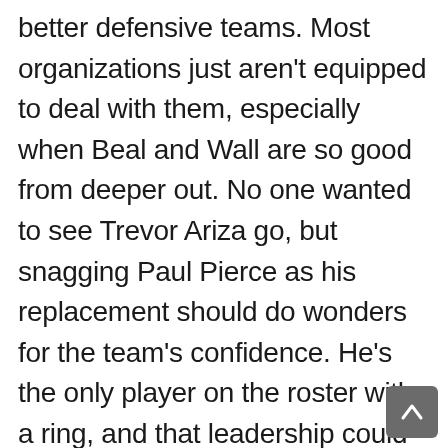better defensive teams. Most organizations just aren't equipped to deal with them, especially when Beal and Wall are so good from deeper out. No one wanted to see Trevor Ariza go, but snagging Paul Pierce as his replacement should do wonders for the team's confidence. He's the only player on the roster with a ring, and that leadership could help take the Wizards to the next level this year. People like Washington a lot, but that's only because there's a lot to like here.